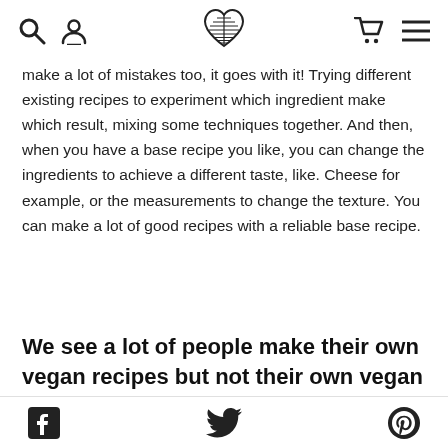[navigation bar with search, user, logo heart, cart, menu icons]
make a lot of mistakes too, it goes with it! Trying different existing recipes to experiment which ingredient make which result, mixing some techniques together. And then, when you have a base recipe you like, you can change the ingredients to achieve a different taste, like. Cheese for example, or the measurements to change the texture. You can make a lot of good recipes with a reliable base recipe.
We see a lot of people make their own vegan recipes but not their own vegan cheese! What made you want to make your
[Facebook icon] [Twitter icon] [Pinterest icon]